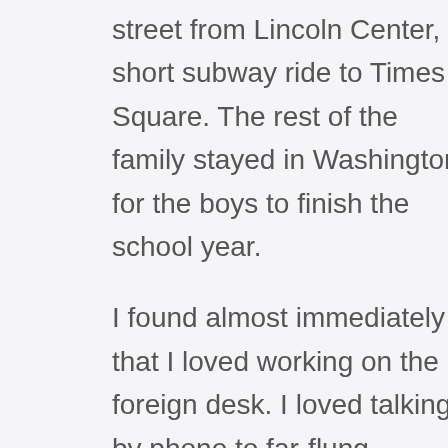street from Lincoln Center, a short subway ride to Times Square. The rest of the family stayed in Washington for the boys to finish the school year.

I found almost immediately that I loved working on the foreign desk. I loved talking by phone to far-flung correspondents, and to offering them ideas on stories. I got along well with Joe Lelyveld, my boss, who on my first day in the office took me to lunch at Orso's a great